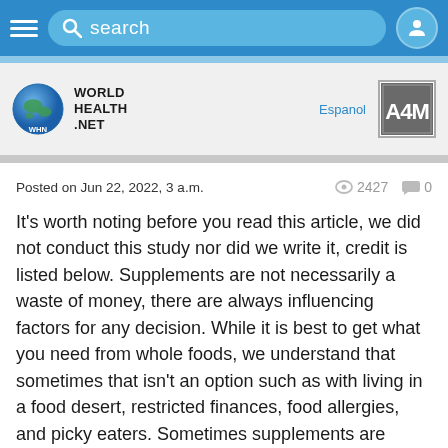search [navigation bar with search, hamburger menu, user icon]
[Figure (logo): World Health Net logo with globe icon, WHN letters, and text WORLD HEALTH .NET. Right side shows Espanol link and A4M badge logo.]
Posted on Jun 22, 2022, 3 a.m.   2427   0
It’s worth noting before you read this article, we did not conduct this study nor did we write it, credit is listed below. Supplements are not necessarily a waste of money, there are always influencing factors for any decision. While it is best to get what you need from whole foods, we understand that sometimes that isn’t an option such as with living in a food desert, restricted finances, food allergies, and picky eaters. Sometimes supplements are needed to help fill a dietary void to